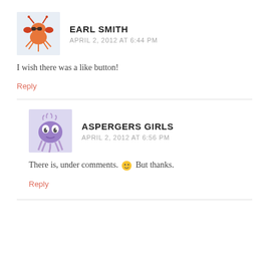EARL SMITH
APRIL 2, 2012 AT 6:44 PM
I wish there was a like button!
Reply
ASPERGERS GIRLS
APRIL 2, 2012 AT 6:56 PM
There is, under comments. 🙂 But thanks.
Reply